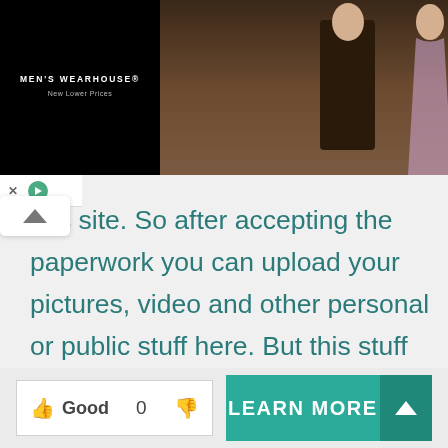[Figure (photo): Men's Wearhouse advertisement banner showing a couple in formal wear (man in dark suit, woman in evening dress) and a man in a tan/khaki suit on the right side, with 'BOOK' button]
this site. So after accepting the paperwork you can upload your pictures, video and other personal or public stuff here. But this stuff must comply with the terms and conditions panel. So using this platform, you can increase your span of friends from all over the world. Hence this is one of the reputable sites for staying in touch with your friends or with some strangers.